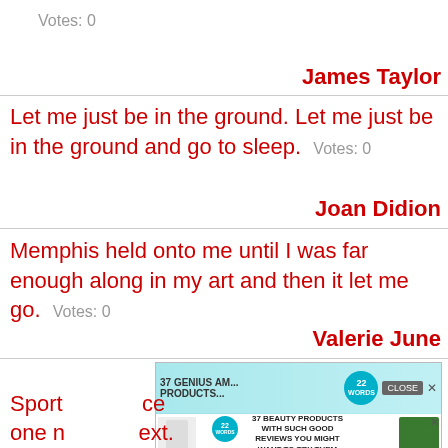Votes: 0
James Taylor
Let me just be in the ground. Let me just be in the ground and go to sleep.  Votes: 0
Joan Didion
Memphis held onto me until I was far enough along in my art and then it let me go.  Votes: 0
Valerie June
[Figure (screenshot): Advertisement banner: '37 GENIUS AM... PRODUCTS...' and '37 BEAUTY PRODUCTS WITH SUCH GOOD REVIEWS YOU MIGHT WANT TO TRY THEM YOURSELF' with Cetaphil and Weleda product images, close button and X button]
Sport ... ce one n ... ext.